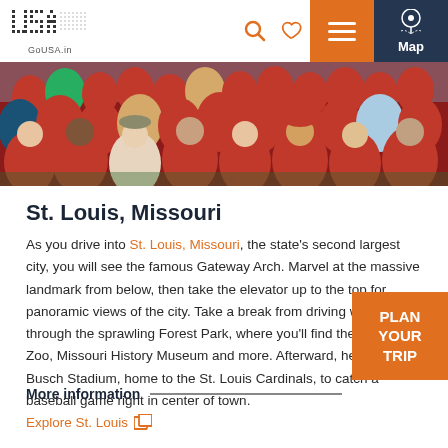[Figure (screenshot): GoUSA.in website navigation bar with logo, search icon, heart icon, hamburger menu (orange), and Map button (dark blue)]
[Figure (photo): Crowd of baseball fans wearing red shirts at a stadium, viewed from behind]
St. Louis, Missouri
As you drive into St. Louis, Missouri, the state's second largest city, you will see the famous Gateway Arch. Marvel at the massive landmark from below, then take the elevator up to the top for panoramic views of the city. Take a break from driving with a stroll through the sprawling Forest Park, where you'll find the St. Louis Zoo, Missouri History Museum and more. Afterward, head to Busch Stadium, home to the St. Louis Cardinals, to catch a baseball game right in center of town.
More information
Explore St. Louis